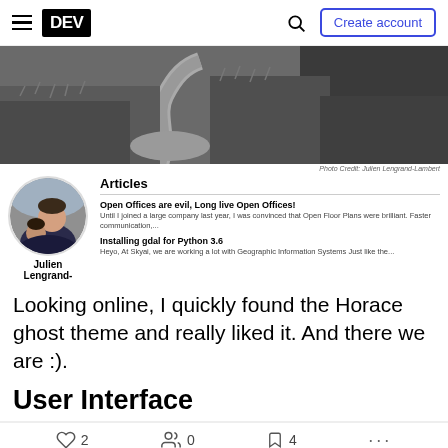DEV | Create account
[Figure (photo): Black and white landscape photograph of a winding river path through marshland/wetlands with tall grasses]
Photo Credit: Julien Lengrand-Lambert
[Figure (photo): Circular avatar photo of Julien Lengrand-Lambert, a man with a child]
Articles
Open Offices are evil, Long live Open Offices! Until I joined a large company last year, I was convinced that Open Floor Plans were brilliant. Faster communication,...
Installing gdal for Python 3.6 Heyo, At Skyai, we are working a lot with Geographic Information Systems Just like the...
Julien Lengrand-
Looking online, I quickly found the Horace ghost theme and really liked it. And there we are :).
User Interface
2  0  4  ...